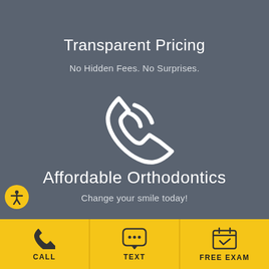Transparent Pricing
No Hidden Fees. No Surprises.
[Figure (illustration): White phone handset icon on grey background]
Affordable Orthodontics
Change your smile today!
[Figure (illustration): Accessibility icon (person with arms outstretched) in yellow circle]
CALL
TEXT
FREE EXAM